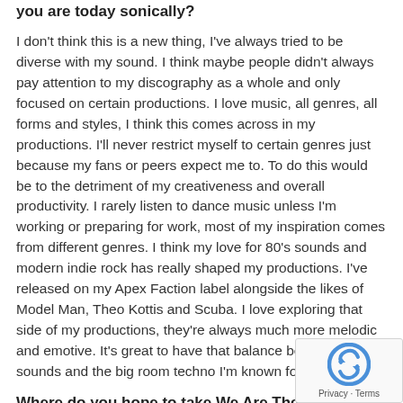you are today sonically?
I don't think this is a new thing, I've always tried to be diverse with my sound. I think maybe people didn't always pay attention to my discography as a whole and only focused on certain productions. I love music, all genres, all forms and styles, I think this comes across in my productions. I'll never restrict myself to certain genres just because my fans or peers expect me to. To do this would be to the detriment of my creativeness and overall productivity. I rarely listen to dance music unless I'm working or preparing for work, most of my inspiration comes from different genres. I think my love for 80's sounds and modern indie rock has really shaped my productions. I've released on my Apex Faction label alongside the likes of Model Man, Theo Kottis and Scuba. I love exploring that side of my productions, they're always much more melodic and emotive. It's great to have that balance between these sounds and the big room techno I'm known for.
Where do you hope to take We Are The Brave in the coming months? Years?